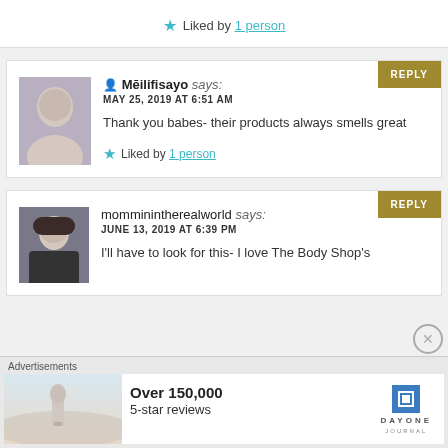★ Liked by 1 person
REPLY
👤 Mēilifisayo says:
MAY 25, 2019 AT 6:51 AM
Thank you babes- their products always smells great
★ Liked by 1 person
REPLY
momminintherealworld says:
JUNE 13, 2019 AT 6:39 PM
I'll have to look for this- I love The Body Shop's
Advertisements
Over 150,000 5-star reviews